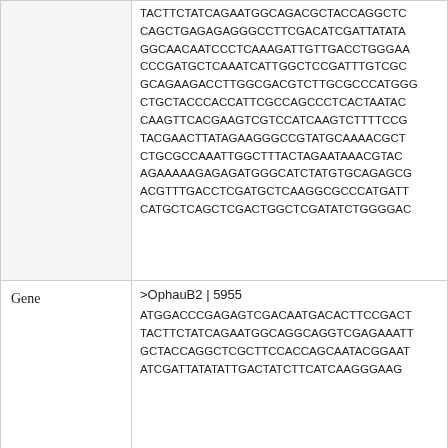| Label | Sequence |
| --- | --- |
|  | TACTTCTATCAGAATGGCAGACGCTACCAGGCTC
CAGCTGAGAGAGGGCCTTCGACATCGATTATATAT
GGCAACAATC CCTCAAAGATTGTTGACCTGGGAA
CCCGATGCTCAAATCATTGGCTCCGATTTGTCGC
GCAGAAGACCTTGGCGACGTCTTGCGCCCATGGG
CTGCTACCCACCATTCGCCAGCCCTCACTAATAC
CAAGTTCACGAAGTCGTCCATCAAGTCTTTTCCG
TACGAACTTATAGAAGGGCCGTATGCAAAACGCT
CTGCGCCAAATTGGCTTTACTAGAATAAACGTAC
AGAAAAAGAGAGATGGGCATCTATGTGCAGAGCG
ACGTTTGACCTCGATGCTCAAGGCGCCCATGATT
CATGCTCAGCTCGACTGGCTCGATATCTGGGGAC |
| Gene | >OphauB2 | 5955
ATGGACCCGAGAGTCGACAATGACACTTCCGACT
TACTTCTATCAGAATGGCAGGCAGGTCGAGAAATT
GCTACCAGGCTCGCTTCCACCAGCAATACGGAAT
ATCGATTATATATTGACTATCTTCATCAAGGGAAG |